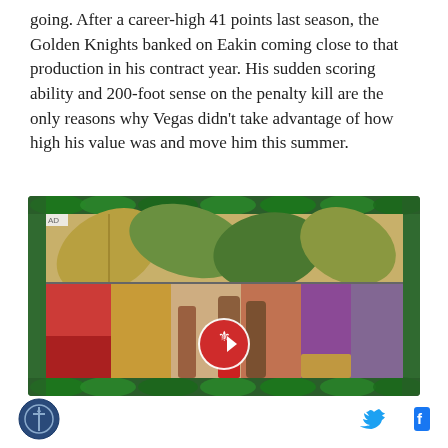going. After a career-high 41 points last season, the Golden Knights banked on Eakin coming close to that production in his contract year. His sudden scoring ability and 200-foot sense on the penalty kill are the only reasons why Vegas didn't take advantage of how high his value was and move him this summer.
[Figure (photo): Advertisement video player showing colorful carnival/festival scene with tropical leaf border decoration. Red play button overlay with a logo. AD label in top-left corner.]
[Figure (logo): SB Nation circular logo icon in bottom left footer]
[Figure (logo): Twitter bird icon and Facebook f icon in bottom right footer]